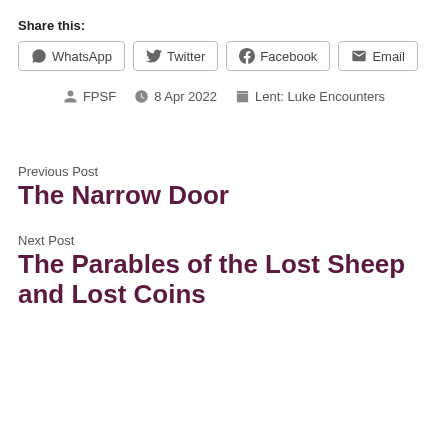Share this:
WhatsApp
Twitter
Facebook
Email
FPSF   8 Apr 2022   Lent: Luke Encounters
Previous Post
The Narrow Door
Next Post
The Parables of the Lost Sheep and Lost Coins